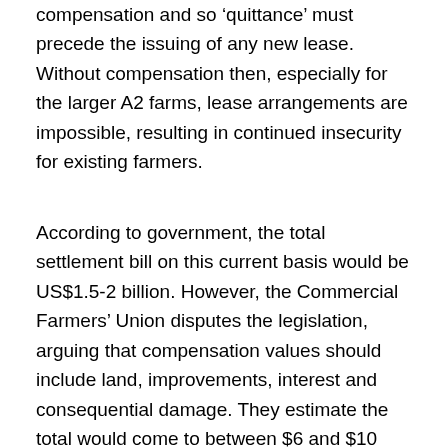compensation and so 'quittance' must precede the issuing of any new lease. Without compensation then, especially for the larger A2 farms, lease arrangements are impossible, resulting in continued insecurity for existing farmers.
According to government, the total settlement bill on this current basis would be US$1.5-2 billion. However, the Commercial Farmers' Union disputes the legislation, arguing that compensation values should include land, improvements, interest and consequential damage. They estimate the total would come to between $6 and $10 billion. Clearly there is a big gap between the estimates. What then is a pragmatic solution? The fact that the government is serious about compensation is clear from the budget allocations up to 2014, over which period some $30 million has been earmarked for compensation. This is